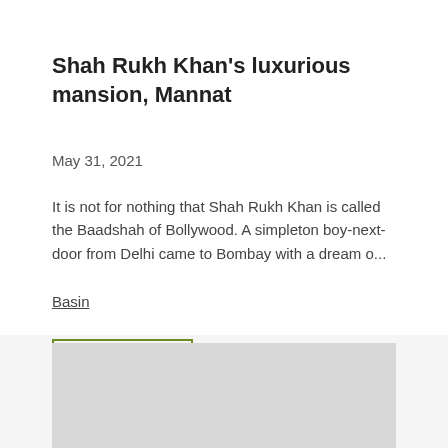Shah Rukh Khan's luxurious mansion, Mannat
May 31, 2021
It is not for nothing that Shah Rukh Khan is called the Baadshah of Bollywood. A simpleton boy-next-door from Delhi came to Bombay with a dream o...
Basin
READ MORE
[Figure (photo): Gray placeholder image block at the bottom of the page]